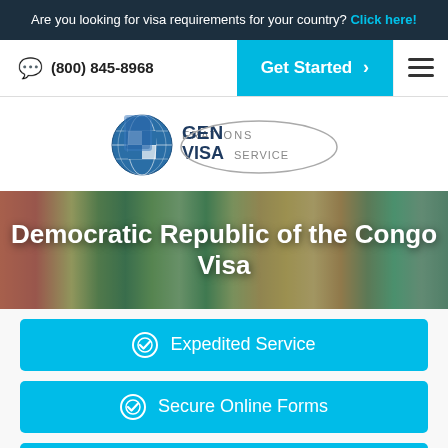Are you looking for visa requirements for your country? Click here!
(800) 845-8968
Get Started >
[Figure (logo): GENerations Visa Service logo with globe icon]
Democratic Republic of the Congo Visa
Expedited Service
Secure Online Forms
Knowledgeable Staff